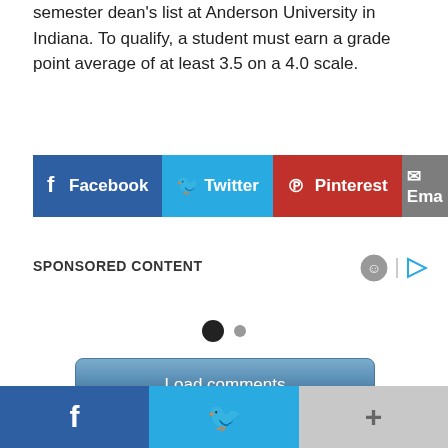semester dean's list at Anderson University in Indiana. To qualify, a student must earn a grade point average of at least 3.5 on a 4.0 scale.
[Figure (infographic): Social sharing buttons: Facebook (blue), Twitter (cyan), Pinterest (red), Email (gray)]
SPONSORED CONTENT
[Figure (infographic): Pagination dots: one large filled black dot and one smaller gray dot]
[Figure (infographic): Load comments button, blue gradient style]
BOOKMARK THE PERMALINK.
[Figure (infographic): Bottom social bar with Facebook, Twitter, and more (+) buttons]